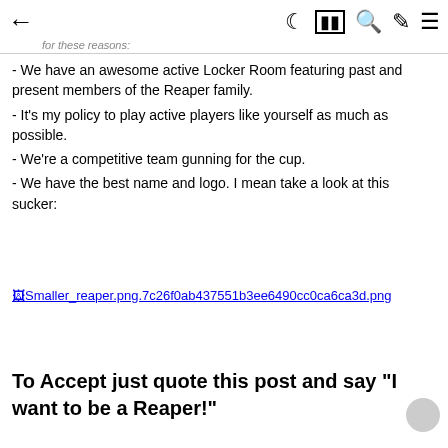← [header title] ☾ 📰 🔍 ✏️ ≡
for these reasons:
- We have an awesome active Locker Room featuring past and present members of the Reaper family.
- It's my policy to play active players like yourself as much as possible.
- We're a competitive team gunning for the cup.
- We have the best name and logo. I mean take a look at this sucker:
[Figure (other): Broken image placeholder showing filename: Smaller_reaper.png.7c26f0ab437551b3ee6490cc0ca6ca3d.png]
To Accept just quote this post and say "I want to be a Reaper!"